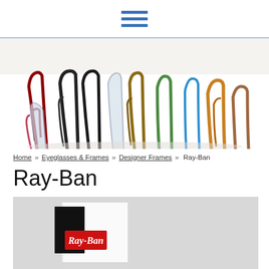[Figure (screenshot): Hamburger menu icon with three horizontal blue lines]
[Figure (photo): Multiple colorful eyeglass frames standing upright, fanned out, viewed from behind showing the temples]
Home » Eyeglasses & Frames » Designer Frames » Ray-Ban
Ray-Ban
[Figure (photo): Ray-Ban branded box and case with red Ray-Ban logo label visible]